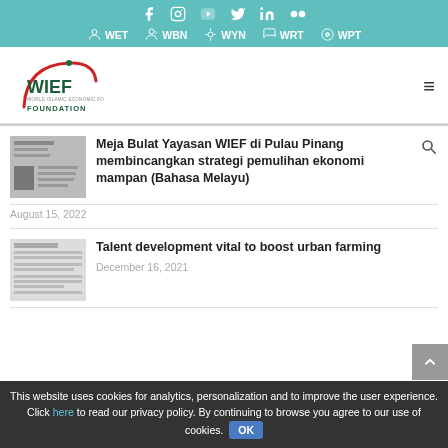Social icons: Facebook, Instagram, YouTube, Twitter, LinkedIn, Flickr | Nav: WET, WBN, WYN, WRT, WPT
[Figure (logo): WIEF Foundation logo with red arc and green text]
Meja Bulat Yayasan WIEF di Pulau Pinang membincangkan strategi pemulihan ekonomi mampan (Bahasa Melayu)
August 15, 2022
Talent development vital to boost urban farming
December 16, 2021
This website uses cookies for analytics, personalization and to improve the user experience. Click here to read our privacy policy. By continuing to browse you agree to our use of cookies. OK